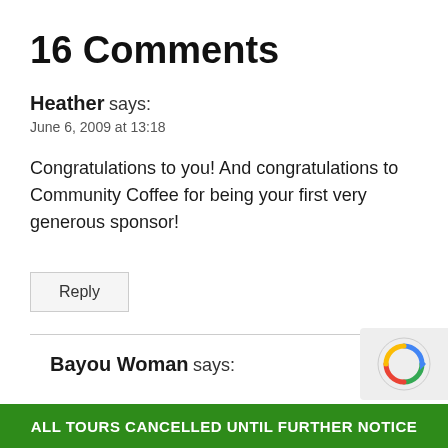16 Comments
Heather says:
June 6, 2009 at 13:18
Congratulations to you! And congratulations to Community Coffee for being your first very generous sponsor!
Reply
Bayou Woman says:
ALL TOURS CANCELLED UNTIL FURTHER NOTICE